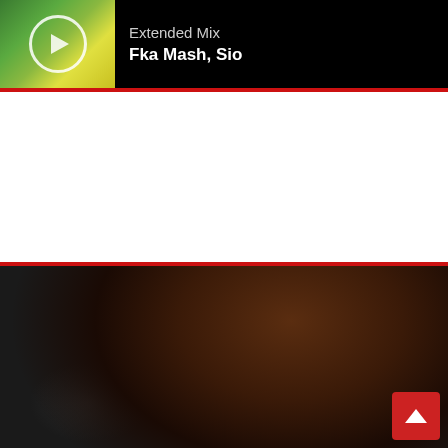[Figure (screenshot): Music player thumbnail showing a green/yellow abstract image with a circular play button overlay]
Extended Mix
Fka Mash, Sio
SHO CATEGORIES
Artist Bio (104)
Competitions (8)
Fresh Stuff (407)
Gigs & Events (44)
Reviews (70)
Spotlight (56)
Uncategorized (1)